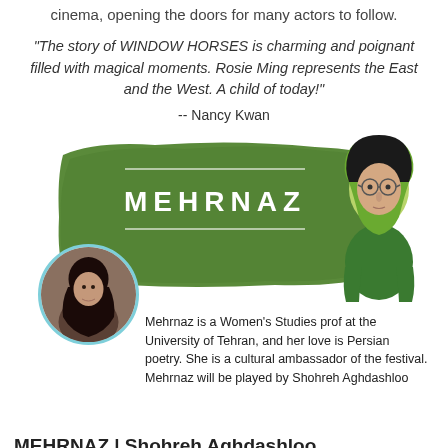cinema, opening the doors for many actors to follow.
"The story of WINDOW HORSES is charming and poignant filled with magical moments. Rosie Ming represents the East and the West. A child of today!"
-- Nancy Kwan
[Figure (illustration): Green brushstroke banner with MEHRNAZ text in white, white horizontal lines above and below the name, and an animated cartoon character of a woman in green hijab with glasses on the right side. A circular photo of a real woman (Shohreh Aghdashloo) with teal border at bottom left.]
Mehrnaz is a Women's Studies prof at the University of Tehran, and her love is Persian poetry. She is a cultural ambassador of the festival. Mehrnaz will be played by Shohreh Aghdashloo
MEHRNAZ | Shohreh Aghdashloo
Shohreh Aghdashloo is an Iranian and American actress and author known for her Academy Award nominated